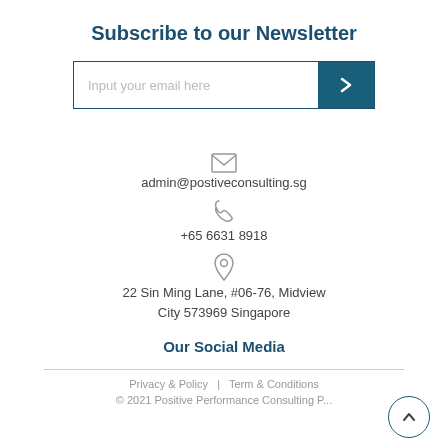Subscribe to our Newsletter
[Figure (other): Email input field with submit button (chevron right) and teal background]
[Figure (other): Envelope icon for email contact]
admin@postiveconsulting.sg
[Figure (other): Phone icon]
+65 6631 8918
[Figure (other): Location pin icon]
22 Sin Ming Lane, #06-76, Midview City 573969 Singapore
Our Social Media
Privacy & Policy  |  Term & Conditions
© 2021 Positive Performance Consulting P...